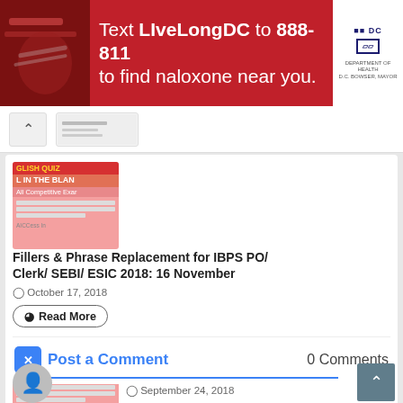[Figure (photo): Red advertisement banner: Text LiveLongDC to 888-811 to find naloxone near you. with DC government logos.]
[Figure (screenshot): Website navigation bar with back arrow and breadcrumb thumbnail.]
[Figure (photo): Thumbnail image for English Quiz Fill in the Blank article.]
Fillers & Phrase Replacement for IBPS PO/ Clerk/ SEBI/ ESIC 2018: 16 November
October 17, 2018
Read More
[Figure (photo): Thumbnail image for English Quiz Fill in the Blank article.]
Complex Fillers for IBPS PO/Clerk/RRB/NIACL Main 2018: 24 Sep
September 24, 2018
Read More
Post a Comment
0 Comments